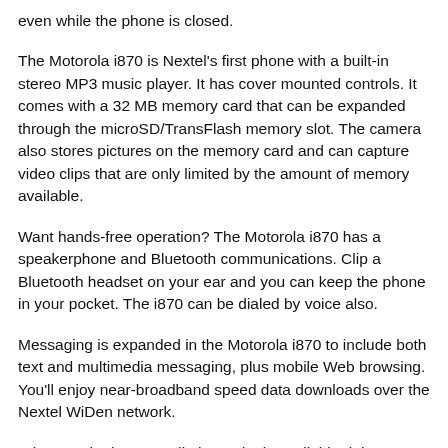even while the phone is closed.
The Motorola i870 is Nextel's first phone with a built-in stereo MP3 music player. It has cover mounted controls. It comes with a 32 MB memory card that can be expanded through the microSD/TransFlash memory slot. The camera also stores pictures on the memory card and can capture video clips that are only limited by the amount of memory available.
Want hands-free operation? The Motorola i870 has a speakerphone and Bluetooth communications. Clip a Bluetooth headset on your ear and you can keep the phone in your pocket. The i870 can be dialed by voice also.
Messaging is expanded in the Motorola i870 to include both text and multimedia messaging, plus mobile Web browsing. You'll enjoy near-broadband speed data downloads over the Nextel WiDen network.
What are the hottest cell phone deals available right now, including free cell phones? Use the Cell Phone Plan Finder